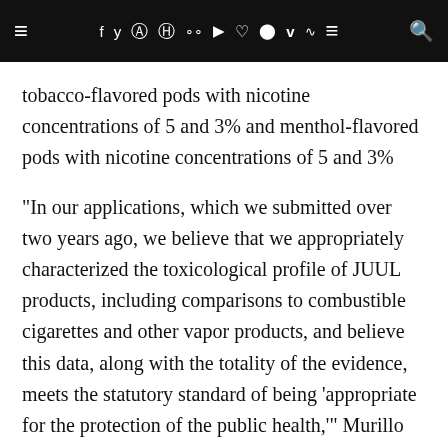≡  f  y  ⓘ  ⓟ  ⊡  ▶  ♡  ⬤  ⓥ  ᯤ  ≡  🔍
tobacco-flavored pods with nicotine concentrations of 5 and 3% and menthol-flavored pods with nicotine concentrations of 5 and 3%
"In our applications, which we submitted over two years ago, we believe that we appropriately characterized the toxicological profile of JUUL products, including comparisons to combustible cigarettes and other vapor products, and believe this data, along with the totality of the evidence, meets the statutory standard of being 'appropriate for the protection of the public health,'" Murillo said. "We intend to seek a stay and are exploring all of our options under the FDA's regulations and the law, including appealing the decision and engaging with our regulator. We remain committed to doing all in our power to continue